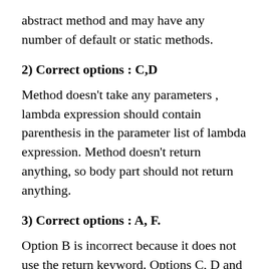abstract method and may have any number of default or static methods.
2) Correct options : C,D
Method doesn’t take any parameters , lambda expression should contain parenthesis in the parameter list of lambda expression. Method doesn’t return anything, so body part should not return anything.
3) Correct options : A, F.
Option B is incorrect because it does not use the return keyword. Options C, D and E are incorrect because the variable e is already in